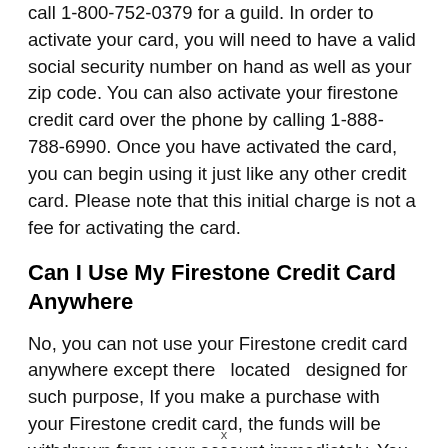call 1-800-752-0379 for a guild. In order to activate your card, you will need to have a valid social security number on hand as well as your zip code. You can also activate your firestone credit card over the phone by calling 1-888-788-6990. Once you have activated the card, you can begin using it just like any other credit card. Please note that this initial charge is not a fee for activating the card.
Can I Use My Firestone Credit Card Anywhere
No, you can not use your Firestone credit card anywhere except there  located  designed for such purpose, If you make a purchase with your Firestone credit card, the funds will be withdrawn from your account immediately. You can not use this card at
x